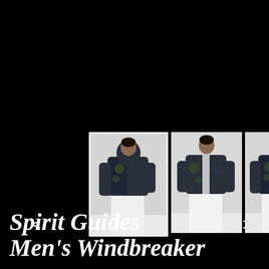[Figure (photo): Three product photos of a man wearing a Spirit Guides Men's Windbreaker (dark patterned jacket, white pants). The first photo (left) is selected with a white border, showing the model from behind/side. The middle photo shows the model from the front. The right photo shows the model from a slight angle.]
Spirit Guides Men's Windbreaker